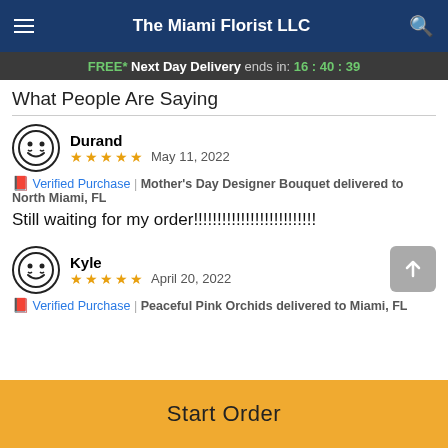The Miami Florist LLC
FREE* Next Day Delivery ends in: 16:40:39
What People Are Saying
Durand
★★★★★ May 11, 2022
📕 Verified Purchase | Mother's Day Designer Bouquet delivered to North Miami, FL
Still waiting for my order!!!!!!!!!!!!!!!!!!!!!!!!!
Kyle
★★★★★ April 20, 2022
📕 Verified Purchase | Peaceful Pink Orchids delivered to Miami, FL
Start Order